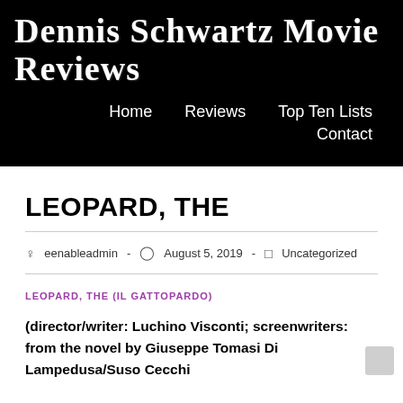Dennis Schwartz Movie Reviews
Home   Reviews   Top Ten Lists   Contact
LEOPARD, THE
eenableadmin · August 5, 2019 · Uncategorized
LEOPARD, THE (IL GATTOPARDO)
(director/writer: Luchino Visconti; screenwriters: from the novel by Giuseppe Tomasi Di Lampedusa/Suso Cecchi